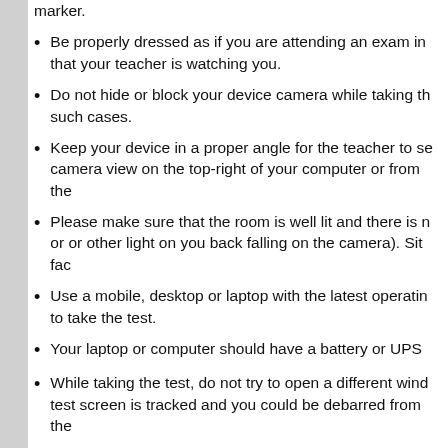marker.
Be properly dressed as if you are attending an exam in that your teacher is watching you.
Do not hide or block your device camera while taking th such cases.
Keep your device in a proper angle for the teacher to se camera view on the top-right of your computer or from the
Please make sure that the room is well lit and there is n or or other light on you back falling on the camera). Sit fac
Use a mobile, desktop or laptop with the latest operatin to take the test.
Your laptop or computer should have a battery or UPS
While taking the test, do not try to open a different wind test screen is tracked and you could be debarred from the
All students will be getting questions in different orders
Do not open the test from different devices at the same you are using a second device to take the test, please log